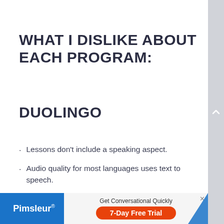WHAT I DISLIKE ABOUT EACH PROGRAM:
DUOLINGO
Lessons don't include a speaking aspect.
Audio quality for most languages uses text to speech.
Grammar instruction is mostly missing from the lessons.
[Figure (screenshot): Pimsleur advertisement banner: 'Get Conversational Quickly' with '7-Day Free Trial' button in orange/red on blue background]